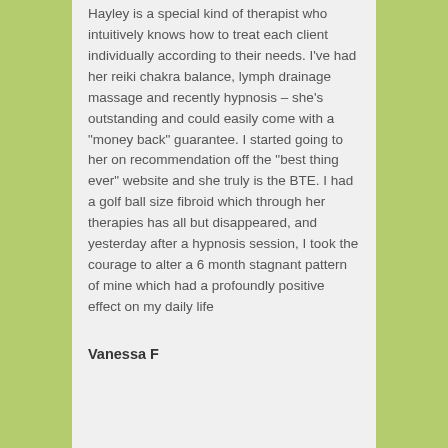Hayley is a special kind of therapist who intuitively knows how to treat each client individually according to their needs. I've had her reiki chakra balance, lymph drainage massage and recently hypnosis – she's outstanding and could easily come with a "money back" guarantee. I started going to her on recommendation off the "best thing ever" website and she truly is the BTE. I had a golf ball size fibroid which through her therapies has all but disappeared, and yesterday after a hypnosis session, I took the courage to alter a 6 month stagnant pattern of mine which had a profoundly positive effect on my daily life
Vanessa F